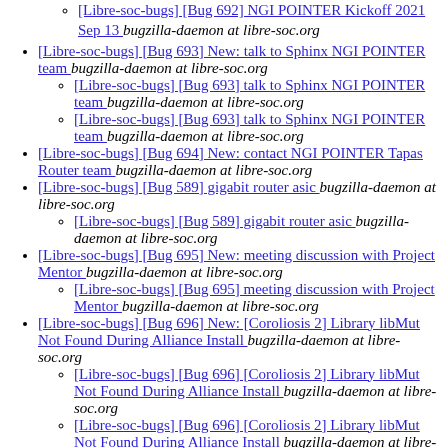[Libre-soc-bugs] [Bug 692] NGI POINTER Kickoff 2021 Sep 13  bugzilla-daemon at libre-soc.org (sub-item)
[Libre-soc-bugs] [Bug 693] New: talk to Sphinx NGI POINTER team  bugzilla-daemon at libre-soc.org
[Libre-soc-bugs] [Bug 693] talk to Sphinx NGI POINTER team  bugzilla-daemon at libre-soc.org (sub-item 1)
[Libre-soc-bugs] [Bug 693] talk to Sphinx NGI POINTER team  bugzilla-daemon at libre-soc.org (sub-item 2)
[Libre-soc-bugs] [Bug 694] New: contact NGI POINTER Tapas Router team  bugzilla-daemon at libre-soc.org
[Libre-soc-bugs] [Bug 589] gigabit router asic  bugzilla-daemon at libre-soc.org
[Libre-soc-bugs] [Bug 589] gigabit router asic  bugzilla-daemon at libre-soc.org (sub-item)
[Libre-soc-bugs] [Bug 695] New: meeting discussion with Project Mentor  bugzilla-daemon at libre-soc.org
[Libre-soc-bugs] [Bug 695] meeting discussion with Project Mentor  bugzilla-daemon at libre-soc.org (sub-item)
[Libre-soc-bugs] [Bug 696] New: [Coroliosis 2] Library libMut Not Found During Alliance Install  bugzilla-daemon at libre-soc.org
[Libre-soc-bugs] [Bug 696] [Coroliosis 2] Library libMut Not Found During Alliance Install  bugzilla-daemon at libre-soc.org (sub-item 1)
[Libre-soc-bugs] [Bug 696] [Coroliosis 2] Library libMut Not Found During Alliance Install  bugzilla-daemon at libre-soc.org (sub-item 2, partial)